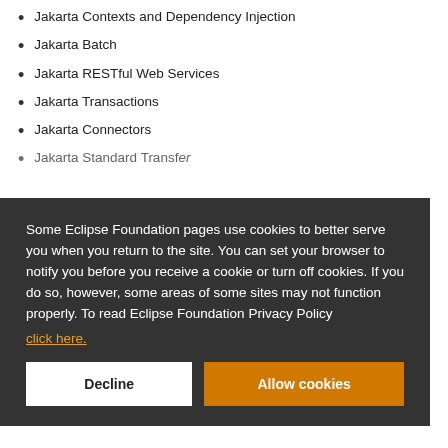Jakarta Contexts and Dependency Injection
Jakarta Batch
Jakarta RESTful Web Services
Jakarta Transactions
Jakarta Connectors
Jakarta Standard Transfer (partial, obscured)
Some Eclipse Foundation pages use cookies to better serve you when you return to the site. You can set your browser to notify you before you receive a cookie or turn off cookies. If you do so, however, some areas of some sites may not function properly. To read Eclipse Foundation Privacy Policy
click here.
Decline
Allow cookies
will be
Jakarta
Jakarta XML Binding (Optional)
Jakarta XML Web Services (Optional)